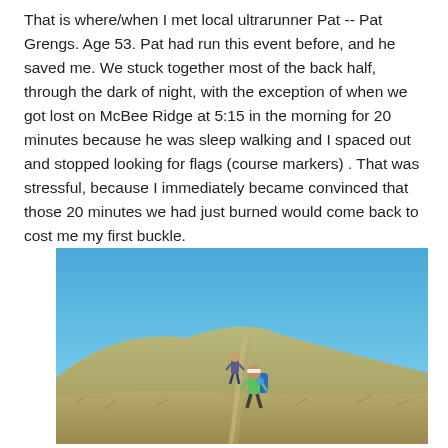That is where/when I met local ultrarunner Pat -- Pat Grengs. Age 53. Pat had run this event before, and he saved me. We stuck together most of the back half, through the dark of night, with the exception of when we got lost on McBee Ridge at 5:15 in the morning for 20 minutes because he was sleep walking and I spaced out and stopped looking for flags (course markers) . That was stressful, because I immediately became convinced that those 20 minutes we had just burned would come back to cost me my first buckle.
[Figure (photo): Two runners hiking up a grassy trail toward a rolling hill under a clear blue sky. The runner in the foreground wears a blue hydration pack and a white headband.]